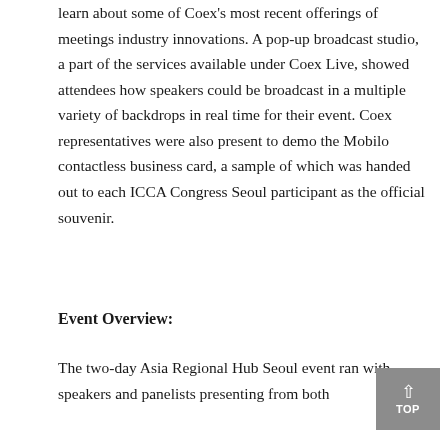learn about some of Coex's most recent offerings of meetings industry innovations. A pop-up broadcast studio, a part of the services available under Coex Live, showed attendees how speakers could be broadcast in a multiple variety of backdrops in real time for their event. Coex representatives were also present to demo the Mobilo contactless business card, a sample of which was handed out to each ICCA Congress Seoul participant as the official souvenir.
Event Overview:
The two-day Asia Regional Hub Seoul event ran with speakers and panelists presenting from both